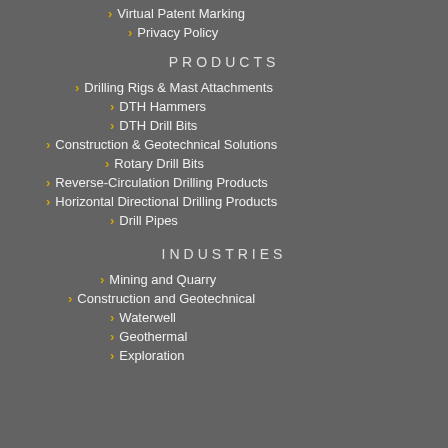Virtual Patent Marking
Privacy Policy
PRODUCTS
Drilling Rigs & Mast Attachments
DTH Hammers
DTH Drill Bits
Construction & Geotechnical Solutions
Rotary Drill Bits
Reverse-Circulation Drilling Products
Horizontal Directional Drilling Products
Drill Pipes
INDUSTRIES
Mining and Quarry
Construction and Geotechnical
Waterwell
Geothermal
Exploration